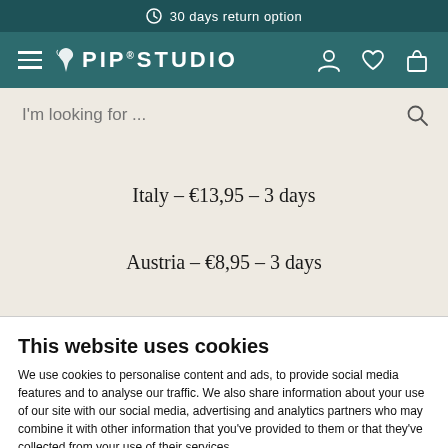30 days return option
[Figure (screenshot): Pip Studio website navigation bar with hamburger menu, logo, user icon, wishlist heart icon, and shopping bag icon on teal background]
[Figure (screenshot): Search bar with placeholder text 'I'm looking for ...' and search icon]
Italy – €13,95 – 3 days
Austria – €8,95 – 3 days
This website uses cookies
We use cookies to personalise content and ads, to provide social media features and to analyse our traffic. We also share information about your use of our site with our social media, advertising and analytics partners who may combine it with other information that you've provided to them or that they've collected from your use of their services.
DENY | ALLOW ALL | Show details